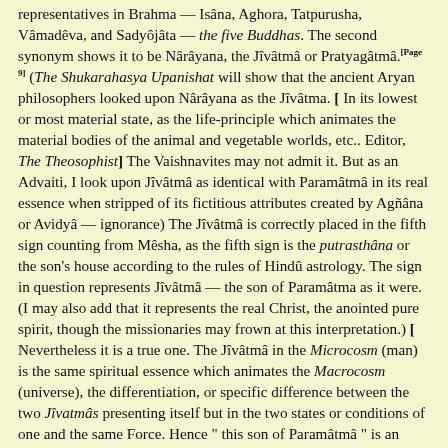representatives in Brahma — Isâna, Aghora, Tatpurusha, Vâmadêva, and Sadyôjâta — the five Buddhas. The second synonym shows it to be Nârâyana, the Jîvâtmâ or Pratyagâtmâ.[Page 9] (The Shukarahasya Upanishat will show that the ancient Aryan philosophers looked upon Nârâyana as the Jîvâtma. [ In its lowest or most material state, as the life-principle which animates the material bodies of the animal and vegetable worlds, etc.. Editor, The Theosophist] The Vaishnavites may not admit it. But as an Advaiti, I look upon Jîvâtmâ as identical with Paramâtmâ in its real essence when stripped of its fictitious attributes created by Agñâna or Avidyâ — ignorance) The Jîvâtmâ is correctly placed in the fifth sign counting from Mêsha, as the fifth sign is the putrasthâna or the son's house according to the rules of Hindû astrology. The sign in question represents Jîvâtmâ — the son of Paramâtma as it were. (I may also add that it represents the real Christ, the anointed pure spirit, though the missionaries may frown at this interpretation.) [ Nevertheless it is a true one. The Jîvâtmâ in the Microcosm (man) is the same spiritual essence which animates the Macrocosm (universe), the differentiation, or specific difference between the two Jîvatmâs presenting itself but in the two states or conditions of one and the same Force. Hence " this son of Paramâtmâ " is an eternal correlation of the Father-Cause, Purusha manifesting himself as Brahmâ of "the golden egg" and becoming Virâdia —the universe